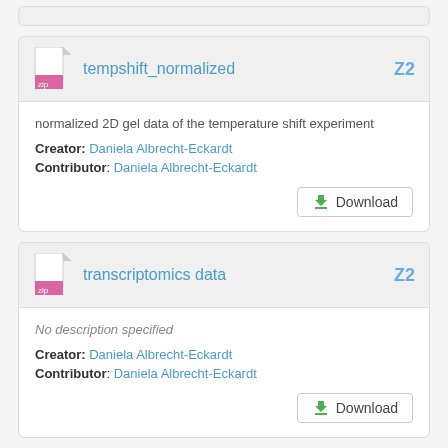[Figure (screenshot): Partial top card (cropped at top of page)]
tempshift_normalized
normalized 2D gel data of the temperature shift experiment
Creator: Daniela Albrecht-Eckardt
Contributor: Daniela Albrecht-Eckardt
transcriptomics data
No description specified
Creator: Daniela Albrecht-Eckardt
Contributor: Daniela Albrecht-Eckardt